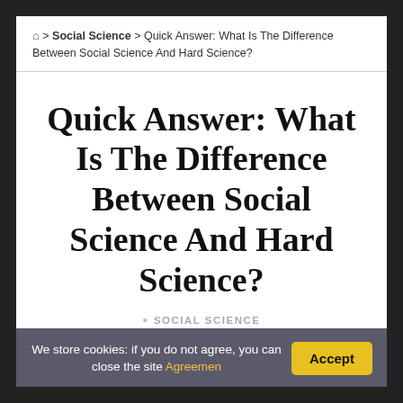🏠 > Social Science > Quick Answer: What Is The Difference Between Social Science And Hard Science?
Quick Answer: What Is The Difference Between Social Science And Hard Science?
SOCIAL SCIENCE
As you may already know, the difference between social science and hard science (such as
We store cookies: if you do not agree, you can close the site Agreemen